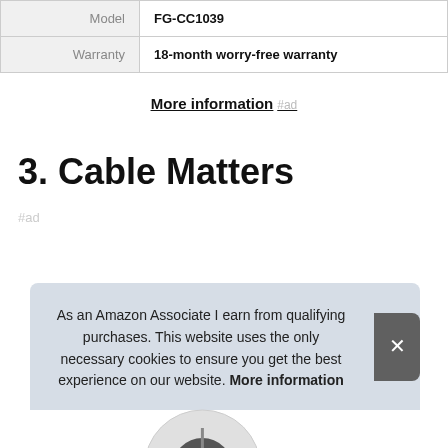|  |  |
| --- | --- |
| Model | FG-CC1039 |
| Warranty | 18-month worry-free warranty |
More information #ad
3. Cable Matters
#ad
As an Amazon Associate I earn from qualifying purchases. This website uses the only necessary cookies to ensure you get the best experience on our website. More information